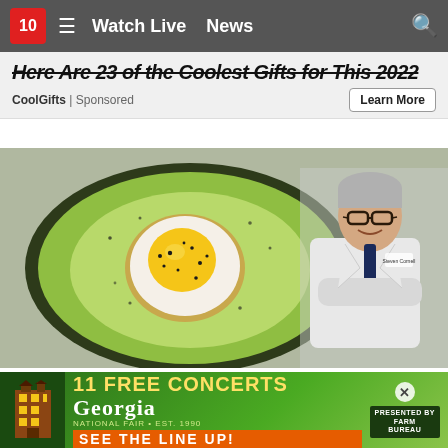10  ≡  Watch Live  News  🔍
Here Are 23 of the Coolest Gifts for This 2022
CoolGifts | Sponsored
Learn More
[Figure (photo): An avocado half with a fried egg baked inside it, seasoned with black pepper, alongside a smiling doctor in a white coat with arms crossed]
Doctor Tells: Do You Have Too Much Belly Fat? (D…
[Figure (infographic): Georgia National Fair advertisement banner: '11 FREE CONCERTS - SEE THE LINE UP!' with building icon and Farm Bureau logo]